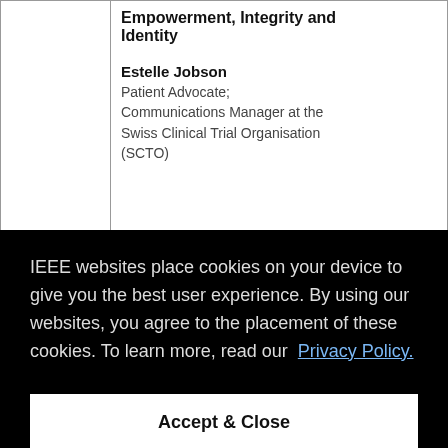| Time | Session |
| --- | --- |
|  | Empowerment, Integrity and Identity

Estelle Jobson
Patient Advocate; Communications Manager at the Swiss Clinical Trial Organisation (SCTO) |
| 9:30 – | Setting a New Standard for ... |
IEEE websites place cookies on your device to give you the best user experience. By using our websites, you agree to the placement of these cookies. To learn more, read our Privacy Policy.
Accept & Close
| Time | Session |
| --- | --- |
|  | Adama Ibrahim, EMBA, Associate ... |